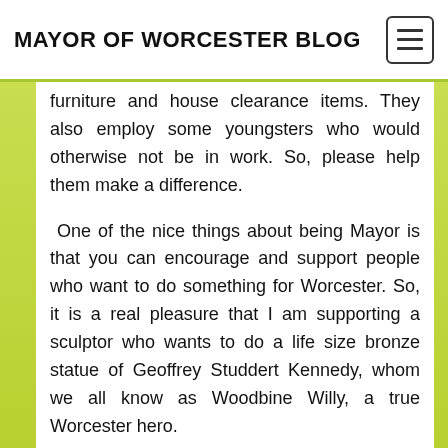MAYOR OF WORCESTER BLOG
furniture and house clearance items. They also employ some youngsters who would otherwise not be in work. So, please help them make a difference.
One of the nice things about being Mayor is that you can encourage and support people who want to do something for Worcester. So, it is a real pleasure that I am supporting a sculptor who wants to do a life size bronze statue of Geoffrey Studdert Kennedy, whom we all know as Woodbine Willy, a true Worcester hero.
Remarkably, we are experiencing some proper summer weather – at least up to now – so that will make my weekend engagements especially fun, opening the Summer Concert and Celebration Day at New College